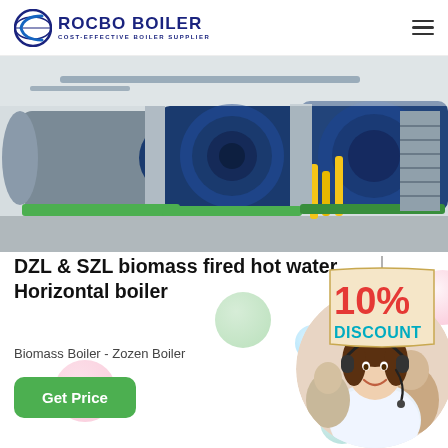ROCBO BOILER — COST-EFFECTIVE BOILER SUPPLIER
[Figure (photo): Industrial boiler equipment — large blue horizontal boilers with piping and yellow gas lines in a factory setting]
[Figure (infographic): 10% DISCOUNT badge with red and teal text on a cream/tan label background with hanging string]
DZL & SZL biomass fired hot water Horizontal boiler
Biomass Boiler - Zozen Boiler
[Figure (photo): Customer service agent — young woman smiling, wearing headset, in a call center environment]
Get Price